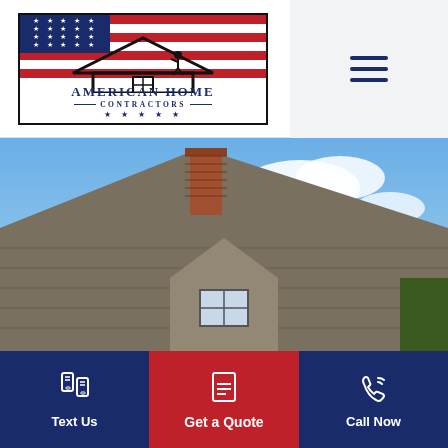[Figure (logo): American Home Contractors logo with American flag, house silhouette, and company name]
[Figure (other): Hamburger menu icon (three horizontal lines) on light gray background]
[Figure (photo): Photo of a house roof with shingles, brick chimney, and blue sky]
[Figure (infographic): Bottom action bar with three buttons: Text Us (navy), Get a Quote (red), Call Now (navy)]